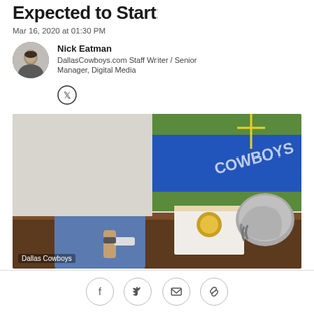Expected to Start
Mar 16, 2020 at 01:30 PM
Nick Eatman
DallasCowboys.com Staff Writer / Senior Manager, Digital Media
[Figure (photo): Man in blue long-sleeve shirt and Texas-flag baseball cap sitting at a desk with a Dallas Cowboys helmet and a book, with a football field visible through a large window behind him. Caption: Dallas Cowboys]
Dallas Cowboys
[Figure (infographic): Social sharing bar with Facebook, Twitter, email, and link icons]